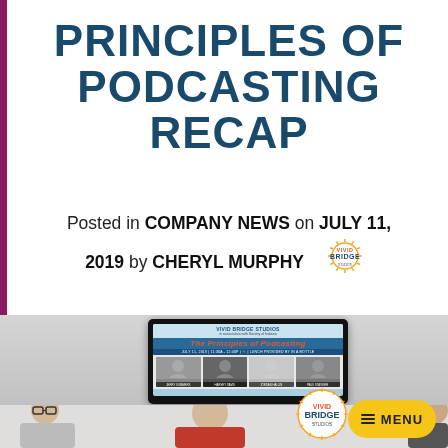PRINCIPLES OF PODCASTING RECAP
Posted in COMPANY NEWS on JULY 11, 2019 by CHERYL MURPHY
[Figure (photo): Photo of a TV screen displaying 'The Principles of Podcasting' event by Vivid Bridge Studios with four speakers (Jerry Summers, Harvey Davis, Jordan Hallin, Paul Stagner), and two people visible at the bottom of the image]
[Figure (logo): Vivid Bridge Studios logo - circular badge with sun rays, orange/yellow and blue colors]
[Figure (logo): Vivid Bridge Studios logo bottom right, circular badge]
MENU